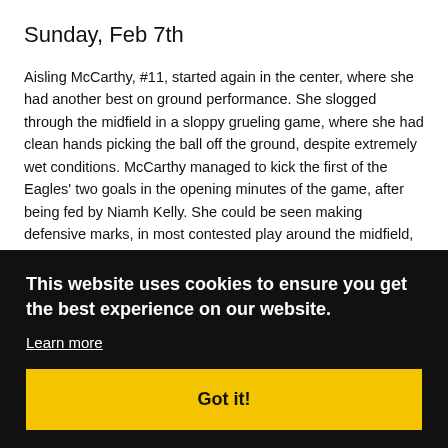Sunday, Feb 7th
Aisling McCarthy, #11, started again in the center, where she had another best on ground performance. She slogged through the midfield in a sloppy grueling game, where she had clean hands picking the ball off the ground, despite extremely wet conditions. McCarthy managed to kick the first of the Eagles' two goals in the opening minutes of the game, after being fed by Niamh Kelly. She could be seen making defensive marks, in most contested play around the midfield, and trying to penetrate the forward line. …tackles. …es on …inside …4 …d …to set up McCarthy's opening goal. Standing off the goalline late in the second …
This website uses cookies to ensure you get the best experience on our website.
Learn more
Got it!